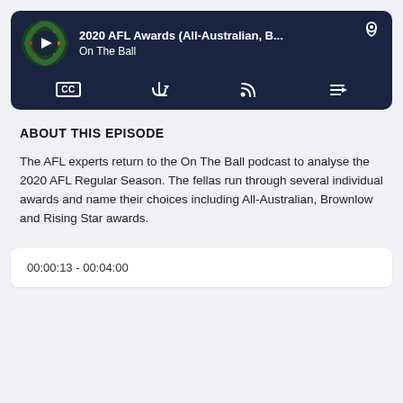[Figure (screenshot): Podcast player bar with dark navy background showing podcast thumbnail with play button, title '2020 AFL Awards (All-Australian, B...', subtitle 'On The Ball', and control buttons including CC, share, RSS feed, and menu icons]
ABOUT THIS EPISODE
The AFL experts return to the On The Ball podcast to analyse the 2020 AFL Regular Season. The fellas run through several individual awards and name their choices including All-Australian, Brownlow and Rising Star awards.
00:00:13 - 00:04:00